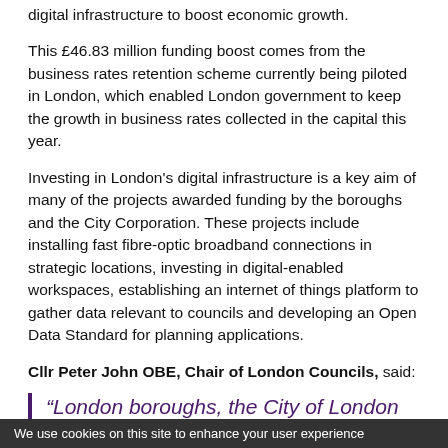digital infrastructure to boost economic growth.
This £46.83 million funding boost comes from the business rates retention scheme currently being piloted in London, which enabled London government to keep the growth in business rates collected in the capital this year.
Investing in London's digital infrastructure is a key aim of many of the projects awarded funding by the boroughs and the City Corporation. These projects include installing fast fibre-optic broadband connections in strategic locations, investing in digital-enabled workspaces, establishing an internet of things platform to gather data relevant to councils and developing an Open Data Standard for planning applications.
Cllr Peter John OBE, Chair of London Councils, said:
“London boroughs, the City of London Corporation and the Mayor are determined to ensure that the business
We use cookies on this site to enhance your user experience